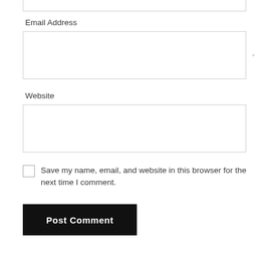Email Address
Website
Save my name, email, and website in this browser for the next time I comment.
Post Comment